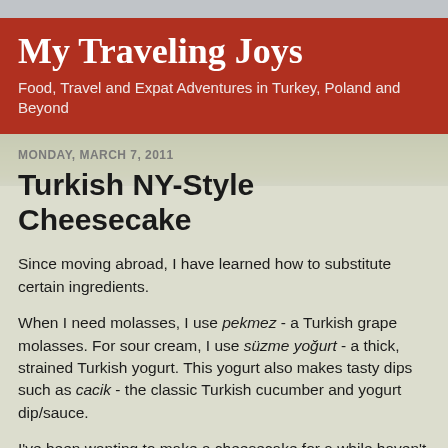My Traveling Joys
Food, Travel and Expat Adventures in Turkey, Poland and Beyond
MONDAY, MARCH 7, 2011
Turkish NY-Style Cheesecake
Since moving abroad, I have learned how to substitute certain ingredients.
When I need molasses, I use pekmez - a Turkish grape molasses. For sour cream, I use süzme yoğurt - a thick, strained Turkish yogurt. This yogurt also makes tasty dips such as cacik - the classic Turkish cucumber and yogurt dip/sauce.
I've been wanting to make a cheesecake for a while haven't